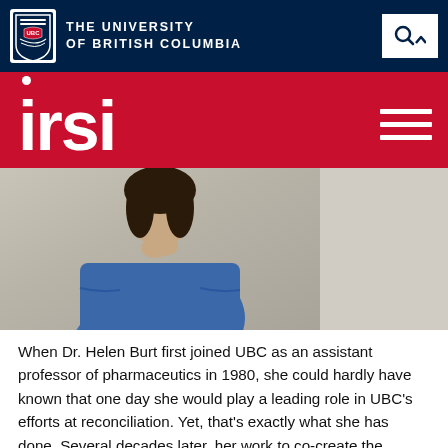THE UNIVERSITY OF BRITISH COLUMBIA
irsi
[Figure (photo): Person wearing a blue long-sleeve sweater, photographed from above the waist, against a neutral background]
When Dr. Helen Burt first joined UBC as an assistant professor of pharmaceutics in 1980, she could hardly have known that one day she would play a leading role in UBC's efforts at reconciliation. Yet, that's exactly what she has done. Several decades later, her work to co-create the Indigenous Research Support Initiative (IRSI) and support a community-driven